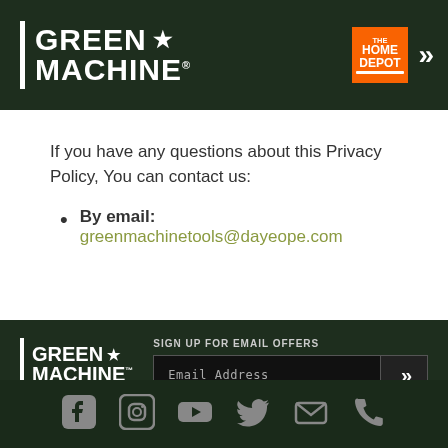[Figure (logo): Green Machine logo with white bar and star, with The Home Depot logo and chevron on the right, on dark green header background]
If you have any questions about this Privacy Policy, You can contact us:
By email: greenmachinetools@dayeope.com
[Figure (logo): Green Machine footer logo with bar, star, trademark, and POWER TO LAST tagline on dark green background. Sign up for email offers input field with chevron button.]
[Figure (infographic): Social media icons: Facebook, Instagram, YouTube, Twitter, Email, Phone on dark green background]